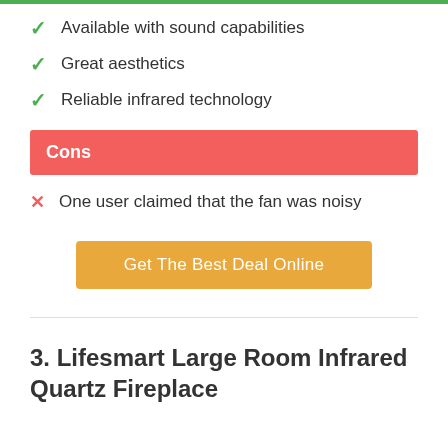Available with sound capabilities
Great aesthetics
Reliable infrared technology
Cons
One user claimed that the fan was noisy
Get The Best Deal Online
3. Lifesmart Large Room Infrared Quartz Fireplace